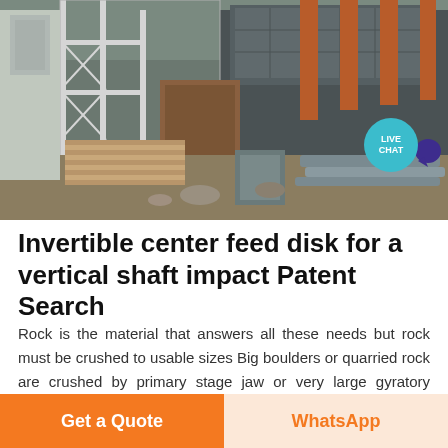[Figure (photo): Industrial construction site with large metal structures, steel columns, orange pillars, and various construction materials including stacked wooden planks and metal pipes in foreground]
Invertible center feed disk for a vertical shaft impact Patent Search
Rock is the material that answers all these needs but rock must be crushed to usable sizes Big boulders or quarried rock are crushed by primary stage jaw or very large gyratory crushers that reduces the rock to sizes that second stage crushers can accept and if the rock needs to
Get a Quote   WhatsApp